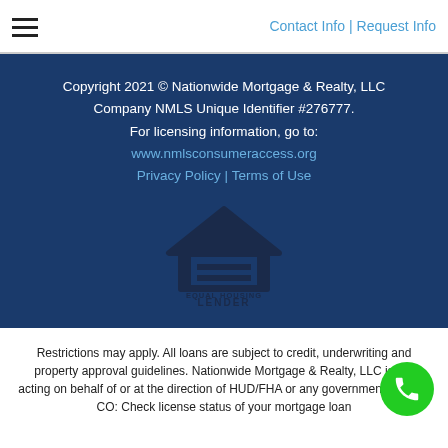Contact Info | Request Info
Copyright 2021 © Nationwide Mortgage & Realty, LLC Company NMLS Unique Identifier #276777. For licensing information, go to: www.nmlsconsumeraccess.org Privacy Policy | Terms of Use
[Figure (logo): Equal Housing Lender logo — house outline with equals sign inside, text EQUAL HOUSING LENDER below]
Restrictions may apply. All loans are subject to credit, underwriting and property approval guidelines. Nationwide Mortgage & Realty, LLC is not acting on behalf of or at the direction of HUD/FHA or any government agency. CO: Check license status of your mortgage loan